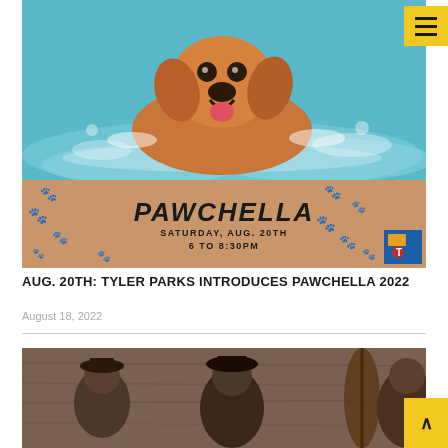[Figure (photo): A golden retriever dog swimming in a turquoise pool, looking at the camera with mouth open, with water splashing around it. Below the dog photo is a sandy/tan colored banner showing 'PAWCHELLA' in large bold italic text, with 'SATURDAY, AUG. 20TH 6 TO 8:30PM' and partially visible text 'FUN FOREST POOL SPLASHPAD'. There are black paw print decorations scattered on the banner. A yellow hamburger menu button appears in the top right corner and a blue badge in the bottom right of the banner.]
AUG. 20TH: TYLER PARKS INTRODUCES PAWCHELLA 2022
August 18, 2022
[Figure (photo): Bottom portion of an image showing musicians in front of a wooden background, including a person wearing a hat, partially visible.]